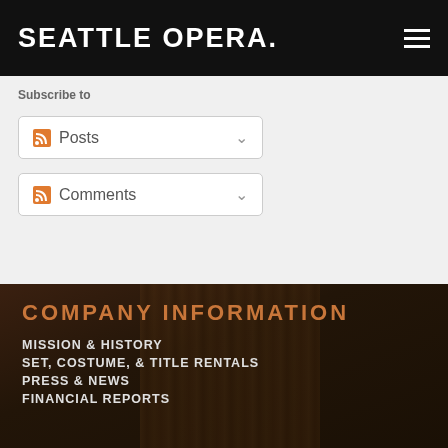SEATTLE OPERA.
Subscribe to
Posts
Comments
COMPANY INFORMATION
MISSION & HISTORY
SET, COSTUME, & TITLE RENTALS
PRESS & NEWS
FINANCIAL REPORTS